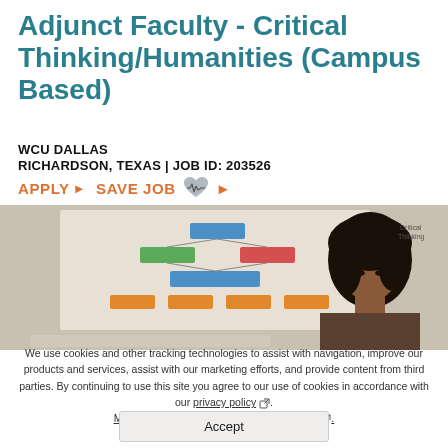Adjunct Faculty - Critical Thinking/Humanities (Campus Based)
WCU DALLAS
RICHARDSON, TEXAS | JOB ID: 203526
APPLY ▸   SAVE JOB ▸
[Figure (photo): A woman with dark curly hair looking down at something, with a colorful flowchart/diagram on a whiteboard visible in the background.]
We use cookies and other tracking technologies to assist with navigation, improve our products and services, assist with our marketing efforts, and provide content from third parties. By continuing to use this site you agree to our use of cookies in accordance with our privacy policy. Manage third-party cookie preferences here.
Accept